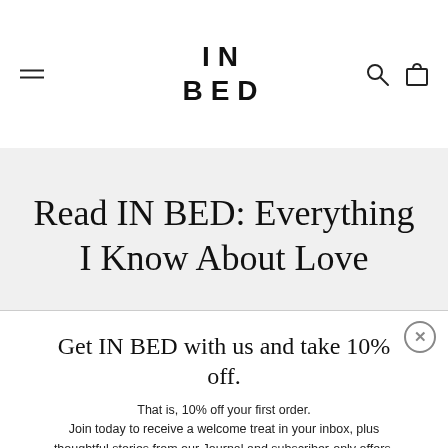IN BED
Read IN BED: Everything I Know About Love
Get IN BED with us and take 10% off.
That is, 10% off your first order. Join today to receive a welcome treat in your inbox, plus thoughtful stories from our Journal and subscriber-only offers.
Email
Sign up